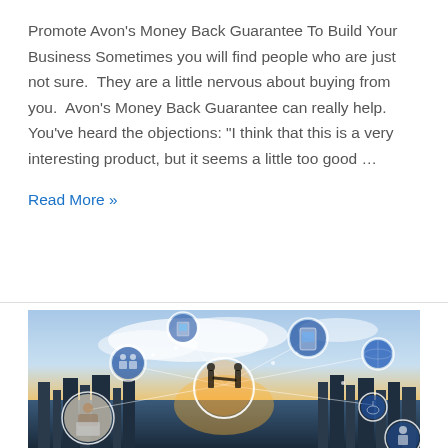Promote Avon's Money Back Guarantee To Build Your Business Sometimes you will find people who are just not sure. They are a little nervous about buying from you. Avon's Money Back Guarantee can really help. You've heard the objections: "I think that this is a very interesting product, but it seems a little too good …
Read More »
[Figure (photo): Business networking concept photo showing silhouetted people shaking hands in a city skyline at sunset, with multiple circular vignette images of business people connected by network lines and dots, representing a global business network.]